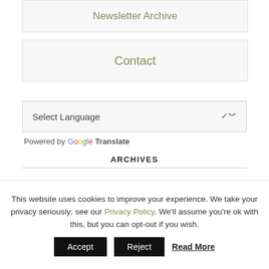Newsletter Archive
Contact
Select Language
Powered by Google Translate
ARCHIVES
This website uses cookies to improve your experience. We take your privacy seriously; see our Privacy Policy. We'll assume you're ok with this, but you can opt-out if you wish.
Accept   Reject   Read More